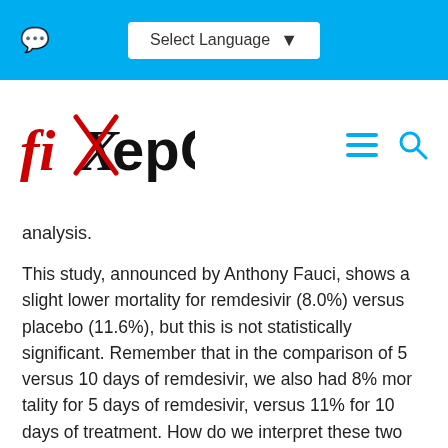Select Language
[Figure (logo): FixHepC logo with red X mark through the letter X]
analysis.
This study, announced by Anthony Fauci, shows a slight lower mortality for remdesivir (8.0%) versus placebo (11.6%), but this is not statistically significant. Remember that in the comparison of 5 versus 10 days of remdesivir, we also had 8% mortality for 5 days of remdesivir, versus 11% for 10 days of treatment. How do we interpret these two non-significant trends in the two trials?
Combined with the Chinese survival data, any difference in survival between remdesivir and placebo would be well statistically significant.